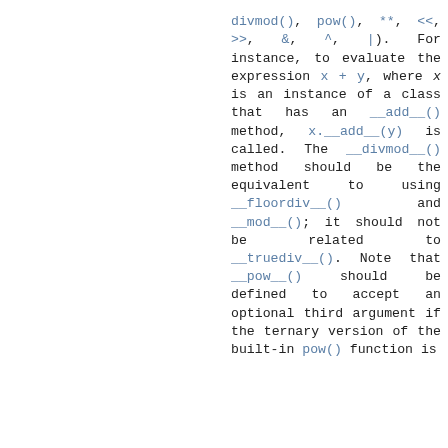divmod(), pow(), **, <<, >>, &, ^, |). For instance, to evaluate the expression x + y, where x is an instance of a class that has an __add__() method, x.__add__(y) is called. The __divmod__() method should be the equivalent to using __floordiv__() and __mod__(); it should not be related to __truediv__(). Note that __pow__() should be defined to accept an optional third argument if the ternary version of the built-in pow() function is